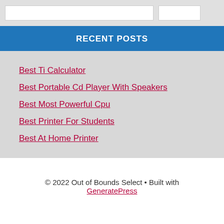RECENT POSTS
Best Ti Calculator
Best Portable Cd Player With Speakers
Best Most Powerful Cpu
Best Printer For Students
Best At Home Printer
© 2022 Out of Bounds Select • Built with GeneratePress